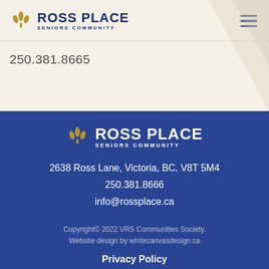Ross Place Seniors Community
250.381.8665
[Figure (logo): Ross Place Seniors Community logo in footer on dark blue background]
2638 Ross Lane, Victoria, BC, V8T 5M4
250.381.8666
info@rossplace.ca
Copyright© 2022 VRS Communities Society. Website design by whitecanvasdesign.ca
Privacy Policy